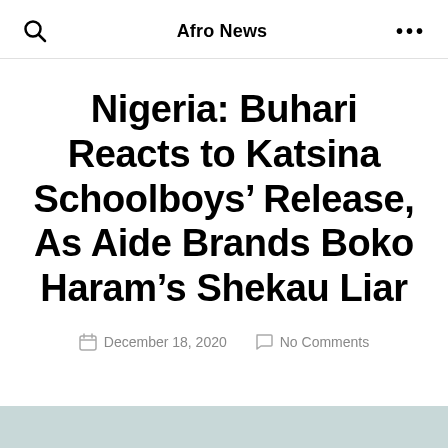Afro News
Nigeria: Buhari Reacts to Katsina Schoolboys’ Release, As Aide Brands Boko Haram’s Shekau Liar
December 18, 2020   No Comments